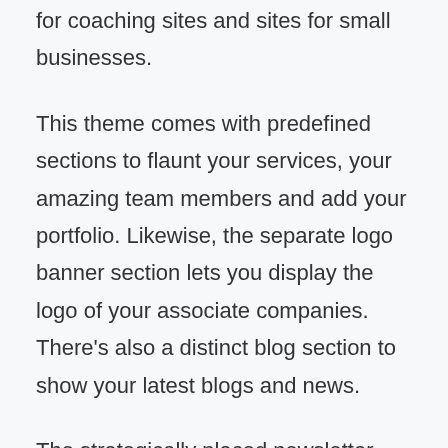for coaching sites and sites for small businesses.
This theme comes with predefined sections to flaunt your services, your amazing team members and add your portfolio. Likewise, the separate logo banner section lets you display the logo of your associate companies. There’s also a distinct blog section to show your latest blogs and news.
The strategically placed newsletter and subscription section helps you grow the traffic on your website. At the same time